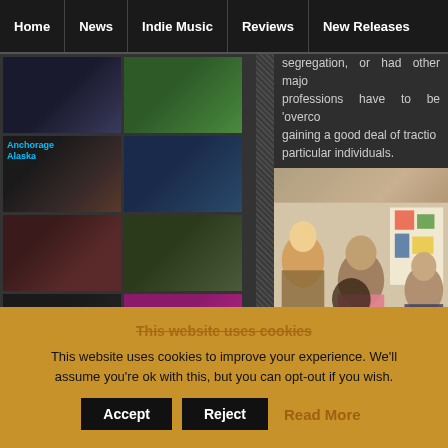Home | News | Indie Music | Reviews | New Releases
[Figure (photo): Grid of music-related thumbnail images including a band photo labeled Anchorage Alaska, concert photos, album artwork, and group shots]
segregation, or had other major professions have to be 'overco gaining a good deal of tractio particular individuals.
[Figure (photo): Photo of people at what appears to be an art gallery or social event, including a blonde woman and a man in a pink shirt]
This website uses cookies
This website uses cookies to improve your experience. We'll assume you're ok with this, but you can opt-out if you wish.
Accept | Reject | Read More